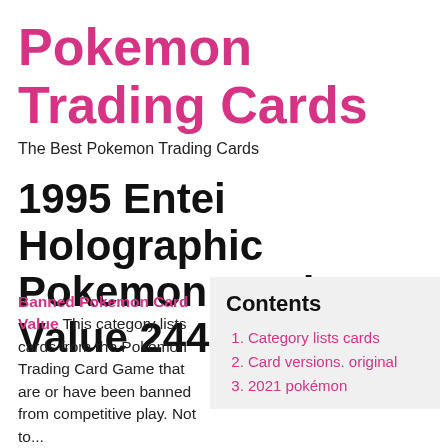Pokemon Trading Cards
The Best Pokemon Trading Cards
1995 Entei Holographic Pokemon Card Value 244
Banned Pokemon Card Value This category lists cards from the Pokémon Trading Card Game that are or have been banned from competitive play. Not to...
Contents
1. Category lists cards
2. Card versions. original
3. 2021 pokémon